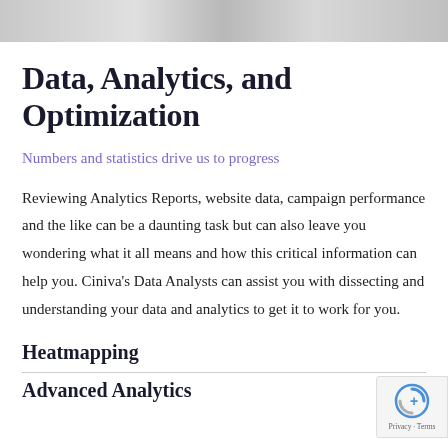[Figure (photo): Partial image at top of page, appears to be a decorative banner or header image showing some objects in grayscale]
Data, Analytics, and Optimization
Numbers and statistics drive us to progress
Reviewing Analytics Reports, website data, campaign performance and the like can be a daunting task but can also leave you wondering what it all means and how this critical information can help you. Ciniva's Data Analysts can assist you with dissecting and understanding your data and analytics to get it to work for you.
Heatmapping
Advanced Analytics